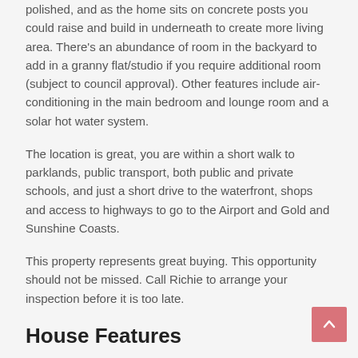polished, and as the home sits on concrete posts you could raise and build in underneath to create more living area. There's an abundance of room in the backyard to add in a granny flat/studio if you require additional room (subject to council approval). Other features include air-conditioning in the main bedroom and lounge room and a solar hot water system.
The location is great, you are within a short walk to parklands, public transport, both public and private schools, and just a short drive to the waterfront, shops and access to highways to go to the Airport and Gold and Sunshine Coasts.
This property represents great buying. This opportunity should not be missed. Call Richie to arrange your inspection before it is too late.
House Features